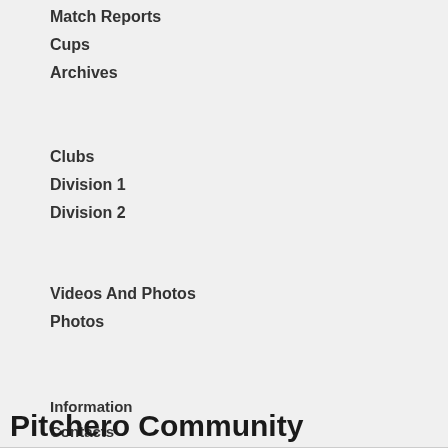Match Reports
Cups
Archives
Clubs
Division 1
Division 2
Videos And Photos
Photos
Information
Contacts
Sponsors & Partners
Policies
Pitchero Community